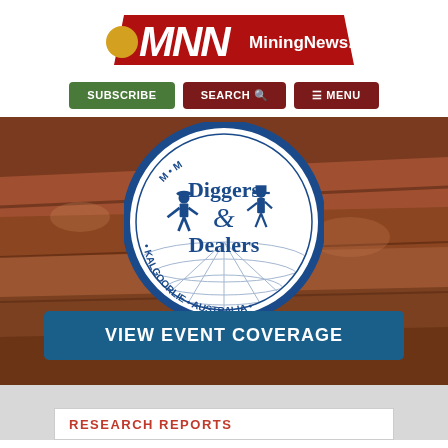[Figure (logo): MiningNews.net logo with red background and gold/white MNN lettering]
[Figure (screenshot): Navigation buttons: SUBSCRIBE (green), SEARCH (dark red), MENU (dark red)]
[Figure (photo): Hero image of open pit mine with Diggers & Dealers Kalgoorlie Australia circular logo overlaid in blue and white, and a dark blue VIEW EVENT COVERAGE button]
RESEARCH REPORTS